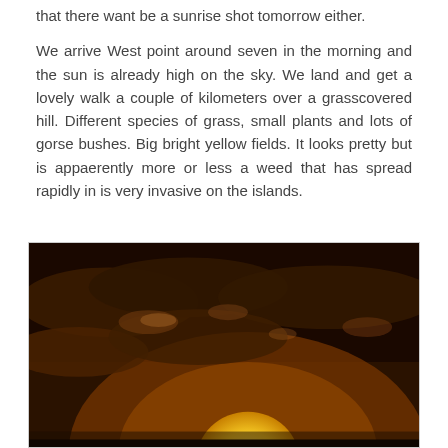that there want be a sunrise shot tomorrow either.
We arrive West point around seven in the morning and the sun is already high on the sky. We land and get a lovely walk a couple of kilometers over a grasscovered hill. Different species of grass, small plants and lots of gorse bushes. Big bright yellow fields. It looks pretty but is appaerently more or less a weed that has spread rapidly in is very invasive on the islands.
[Figure (photo): A dramatic sunset or sunrise photograph showing a large golden/yellow sun partially visible at the bottom center of the frame, rising or setting behind dark brownish-orange storm clouds. The sky has a warm amber and dark brown tone with cloud formations visible.]